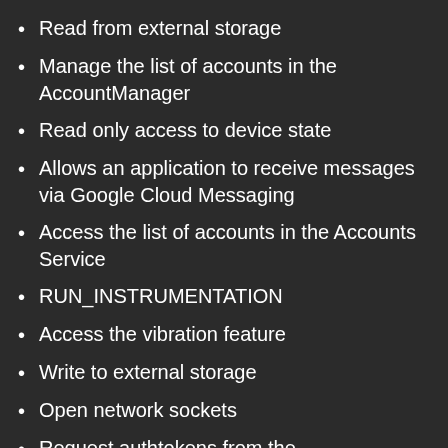Read from external storage
Manage the list of accounts in the AccountManager
Read only access to device state
Allows an application to receive messages via Google Cloud Messaging
Access the list of accounts in the Accounts Service
RUN_INSTRUMENTATION
Access the vibration feature
Write to external storage
Open network sockets
Request authtokens from the AccountManager
Access information about networks
Monitor, modify, or abort outgoing calls
PowerManager WakeLocks to keep processor from sleeping or screen from dimming
Allows an application to read e-mail attachments